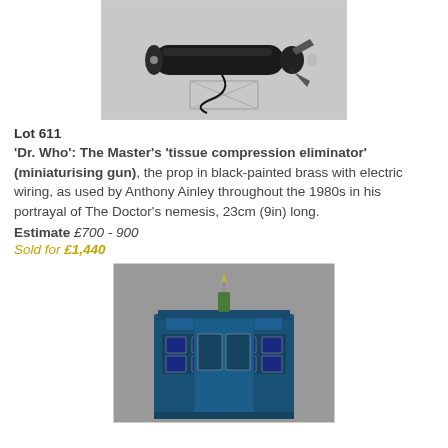[Figure (photo): The Master's tissue compression eliminator prop — a black-painted brass cylinder with electric wiring and claw-like end, mounted on a clear acrylic stand, photographed on a grey background.]
Lot 611
'Dr. Who': The Master's 'tissue compression eliminator' (miniaturising gun), the prop in black-painted brass with electric wiring, as used by Anthony Ainley throughout the 1980s in his portrayal of The Doctor's nemesis, 23cm (9in) long.
Estimate £700 - 900
Sold for £1,440
[Figure (photo): A blue TARDIS police box miniature/prop with a needle-like antenna at top and 'POLICE BOX' text visible on the facade, photographed on a grey background.]